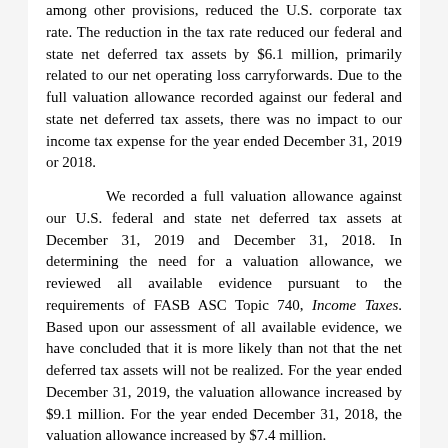among other provisions, reduced the U.S. corporate tax rate. The reduction in the tax rate reduced our federal and state net deferred tax assets by $6.1 million, primarily related to our net operating loss carryforwards. Due to the full valuation allowance recorded against our federal and state net deferred tax assets, there was no impact to our income tax expense for the year ended December 31, 2019 or 2018.
We recorded a full valuation allowance against our U.S. federal and state net deferred tax assets at December 31, 2019 and December 31, 2018. In determining the need for a valuation allowance, we reviewed all available evidence pursuant to the requirements of FASB ASC Topic 740, Income Taxes. Based upon our assessment of all available evidence, we have concluded that it is more likely than not that the net deferred tax assets will not be realized. For the year ended December 31, 2019, the valuation allowance increased by $9.1 million. For the year ended December 31, 2018, the valuation allowance increased by $7.4 million.
As of December 31, 2019, we had federal net operating loss carryforwards of approximately $98.2 million, state net operating loss carryforwards of approximately $99.6 million and foreign net operating loss carryforwards of $51,000 in...